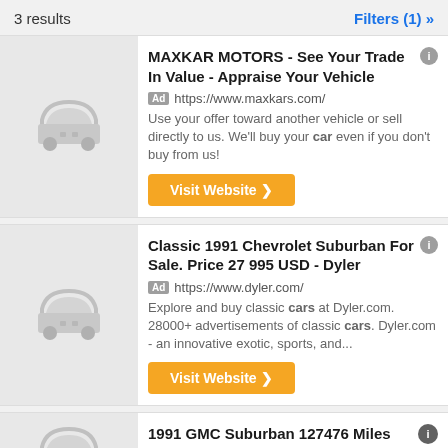3 results
Filters (1) »
[Figure (illustration): Gray car placeholder icon on light gray background]
MAXKAR MOTORS - See Your Trade In Value - Appraise Your Vehicle
Ad https://www.maxkars.com/
Use your offer toward another vehicle or sell directly to us. We'll buy your car even if you don't buy from us!
Visit Website ❯
[Figure (illustration): Gray car placeholder icon on light gray background]
Classic 1991 Chevrolet Suburban For Sale. Price 27 995 USD - Dyler
Ad https://www.dyler.com/
Explore and buy classic cars at Dyler.com. 28000+ advertisements of classic cars. Dyler.com - an innovative exotic, sports, and...
Visit Website ❯
[Figure (illustration): Gray car placeholder icon partially visible, light gray background, bottom of page]
1991 GMC Suburban 127476 Miles RED SUV
Sherman
$19,999